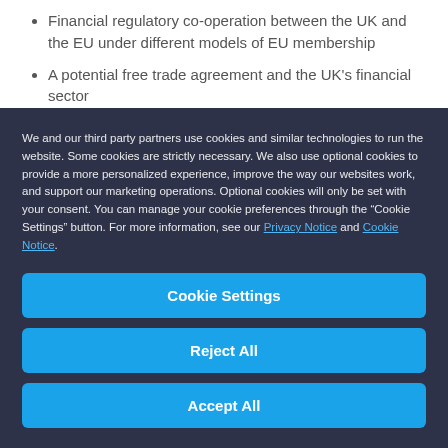Financial regulatory co-operation between the UK and the EU under different models of EU membership
A potential free trade agreement and the UK's financial sector
Potential transitional arrangements
We and our third party partners use cookies and similar technologies to run the website. Some cookies are strictly necessary. We also use optional cookies to provide a more personalized experience, improve the way our websites work, and support our marketing operations. Optional cookies will only be set with your consent. You can manage your cookie preferences through the “Cookie Settings” button. For more information, see our Privacy Notice and Cookie Notice.
Cookie Settings
Reject All
Accept All